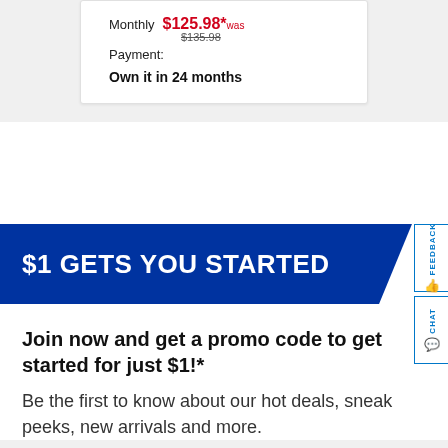Monthly Payment: $125.98* was $135.98
Own it in 24 months
$1 GETS YOU STARTED
Join now and get a promo code to get started for just $1!*
Be the first to know about our hot deals, sneak peeks, new arrivals and more.